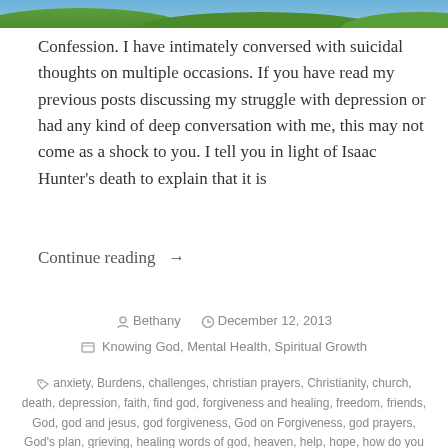[Figure (photo): Top portion of an outdoor photo showing blue sky and green foliage/grass]
Confession. I have intimately conversed with suicidal thoughts on multiple occasions. If you have read my previous posts discussing my struggle with depression or had any kind of deep conversation with me, this may not come as a shock to you. I tell you in light of Isaac Hunter's death to explain that it is
Continue reading →
Bethany   December 12, 2013
Knowing God, Mental Health, Spiritual Growth
anxiety, Burdens, challenges, christian prayers, Christianity, church, death, depression, faith, find god, forgiveness and healing, freedom, friends, God, god and jesus, god forgiveness, God on Forgiveness, god prayers, God's plan, grieving, healing words of god, heaven, help, hope, how do you trust god, i need forgiveness, i need forgiveness from God, Isaac Hunter, Jesus, Life, Mental Health, ministry, mourning, need god help, pain, pastor Isaac Hunter, prayer, spiritual freedom, spiritual growth, Suicidal, Suicidal thoughts, suicide, thoughts of suicide, what is trust, where is god, who is god, who is jesus